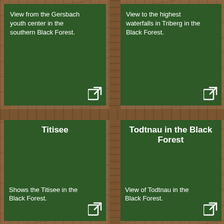[Figure (infographic): Top-left green panel: text 'View from the Gersbach youth center in the southern Black Forest.' with external link icon]
[Figure (infographic): Top-right green panel: text 'View to the highest waterfalls in Triberg in the Black Forest.' with external link icon]
Titisee
[Figure (infographic): Bottom-left green panel titled 'Titisee': text 'Shows the Titisee in the Black Forest.' with external link icon]
Todtnau in the Black Forest
[Figure (infographic): Bottom-right green panel titled 'Todtnau in the Black Forest': text 'View of Todtnau in the Black Forest.' with external link icon]